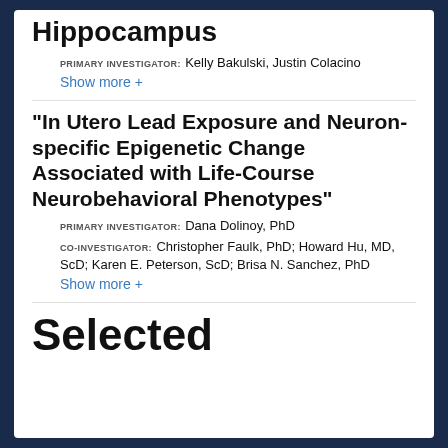Hippocampus
PRIMARY INVESTIGATOR: Kelly Bakulski, Justin Colacino
Show more +
“In Utero Lead Exposure and Neuron-specific Epigenetic Change Associated with Life-Course Neurobehavioral Phenotypes”
PRIMARY INVESTIGATOR: Dana Dolinoy, PhD
CO-INVESTIGATOR: Christopher Faulk, PhD; Howard Hu, MD, ScD; Karen E. Peterson, ScD; Brisa N. Sanchez, PhD
Show more +
Selected